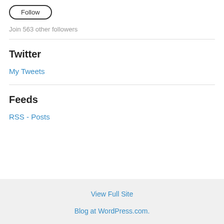[Figure (other): Follow button widget (rounded rectangle outline button)]
Join 563 other followers
Twitter
My Tweets
Feeds
RSS - Posts
View Full Site
Blog at WordPress.com.